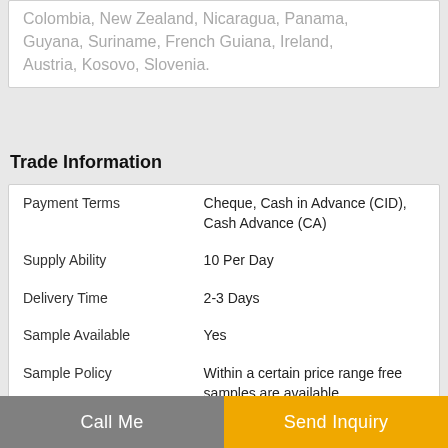Colombia, New Zealand, Nicaragua, Panama, Guyana, Suriname, French Guiana, Ireland, Austria, Kosovo, Slovenia.
Trade Information
| Payment Terms | Cheque, Cash in Advance (CID), Cash Advance (CA) |
| Supply Ability | 10 Per Day |
| Delivery Time | 2-3 Days |
| Sample Available | Yes |
| Sample Policy | Within a certain price range free samples are available |
| Main Export Market(s) | Africa, Middle East, Western Europe, Eastern Europe, South America, North America, Central America, Australia, Asia |
| Main Domestic Market | Uttarakhand, Delhi, Telangana, Jammu and Kashmir, Pondicherry, West |
Call Me    Send Inquiry